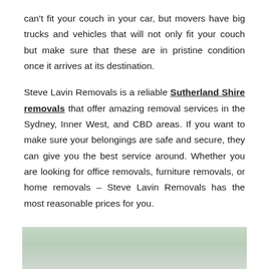can't fit your couch in your car, but movers have big trucks and vehicles that will not only fit your couch but make sure that these are in pristine condition once it arrives at its destination.
Steve Lavin Removals is a reliable Sutherland Shire removals that offer amazing removal services in the Sydney, Inner West, and CBD areas. If you want to make sure your belongings are safe and secure, they can give you the best service around. Whether you are looking for office removals, furniture removals, or home removals – Steve Lavin Removals has the most reasonable prices for you.
[Figure (photo): Photo showing a person holding a tablet, partially visible, with a blurred background suggesting an office or storage environment.]